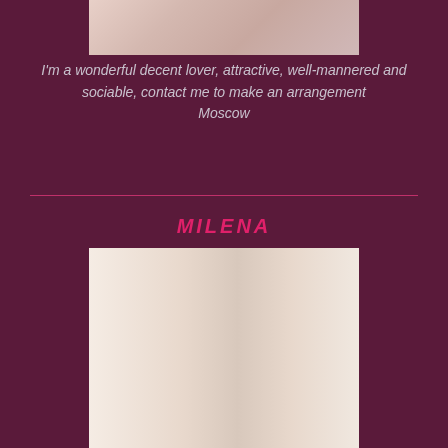[Figure (photo): Partial photo of a person at the top of the page, cropped]
I'm a wonderful decent lover, attractive, well-mannered and sociable, contact me to make an arrangement Moscow
[Figure (photo): Photo of a blonde woman in white lingerie looking in a mirror, identified as Milena]
MILENA